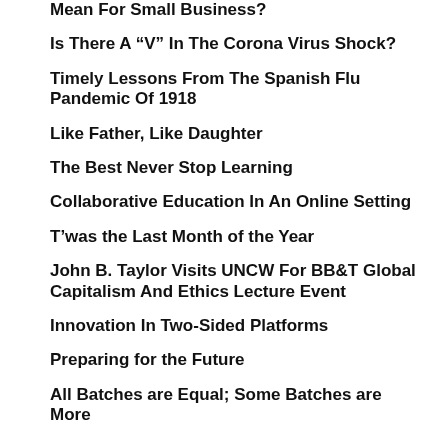Mean For Small Business?
Is There A “V” In The Corona Virus Shock?
Timely Lessons From The Spanish Flu Pandemic Of 1918
Like Father, Like Daughter
The Best Never Stop Learning
Collaborative Education In An Online Setting
T’was the Last Month of the Year
John B. Taylor Visits UNCW For BB&T Global Capitalism And Ethics Lecture Event
Innovation In Two-Sided Platforms
Preparing for the Future
All Batches are Equal; Some Batches are More